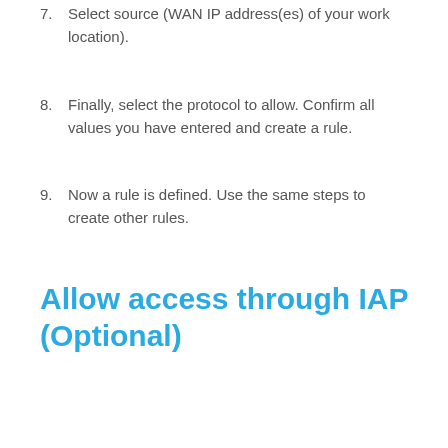7. Select source (WAN IP address(es) of your work location).
8. Finally, select the protocol to allow. Confirm all values you have entered and create a rule.
9. Now a rule is defined. Use the same steps to create other rules.
Allow access through IAP (Optional)